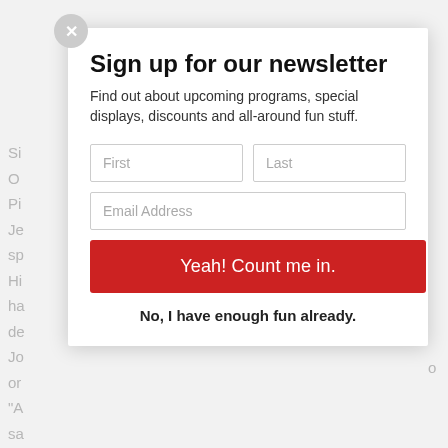Sign up for our newsletter
Find out about upcoming programs, special displays, discounts and all-around fun stuff.
First
Last
Email Address
Yeah! Count me in.
No, I have enough fun already.